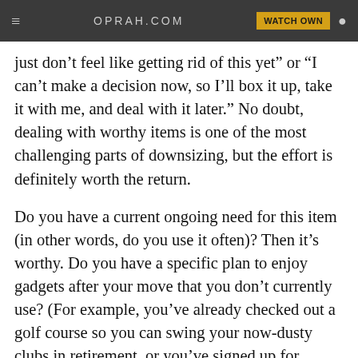OPRAH.COM  WATCH OWN
just don’t feel like getting rid of this yet” or “I can’t make a decision now, so I’ll box it up, take it with me, and deal with it later.” No doubt, dealing with worthy items is one of the most challenging parts of downsizing, but the effort is definitely worth the return.
Do you have a current ongoing need for this item (in other words, do you use it often)? Then it’s worthy. Do you have a specific plan to enjoy gadgets after your move that you don’t currently use? (For example, you’ve already checked out a golf course so you can swing your now-dusty clubs in retirement, or you’ve signed up for cooking classes so you can